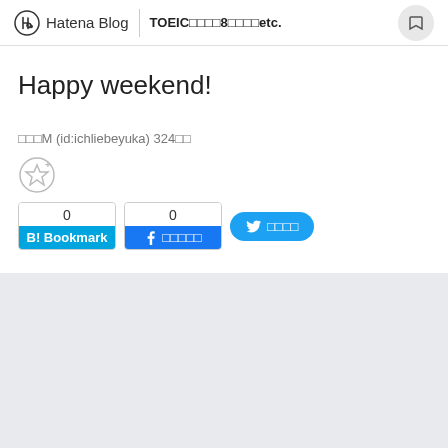Hatena Blog | TOEIC□□□□8□□□□etc.
Happy weekend!
□□□M (id:ichliebeyuka) 324□□
[Figure (other): Social sharing buttons: Hatena Bookmark (0), Facebook share (0), Twitter share button]